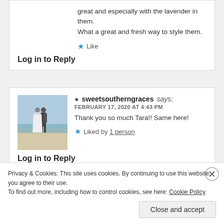great and especially with the lavender in them. What a great and fresh way to style them.
★ Like
Log in to Reply
[Figure (photo): Wedding couple photo on beach]
sweetsoutherngraces says:
FEBRUARY 17, 2020 AT 4:43 PM
Thank you so much Tara!! Same here!
★ Liked by 1 person
Log in to Reply
Privacy & Cookies: This site uses cookies. By continuing to use this website, you agree to their use.
To find out more, including how to control cookies, see here: Cookie Policy
Close and accept